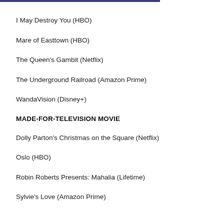I May Destroy You (HBO)
Mare of Easttown (HBO)
The Queen's Gambit (Netflix)
The Underground Railroad (Amazon Prime)
WandaVision (Disney+)
MADE-FOR-TELEVISION MOVIE
Dolly Parton's Christmas on the Square (Netflix)
Oslo (HBO)
Robin Roberts Presents: Mahalia (Lifetime)
Sylvie's Love (Amazon Prime)